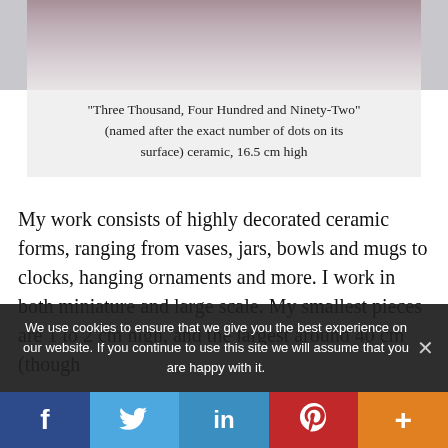[Figure (photo): Partial view of a ceramic piece with many small dots/pearls on its surface, shown against a light background.]
“Three Thousand, Four Hundred and Ninety-Two” (named after the exact number of dots on its surface) ceramic, 16.5 cm high
My work consists of highly decorated ceramic forms, ranging from vases, jars, bowls and mugs to clocks, hanging ornaments and more. I work in both miniature and large scale. My smallest pieces are 1 to 2 cm high, and the largest around 40 cm (though
We use cookies to ensure that we give you the best experience on our website. If you continue to use this site we will assume that you are happy with it.